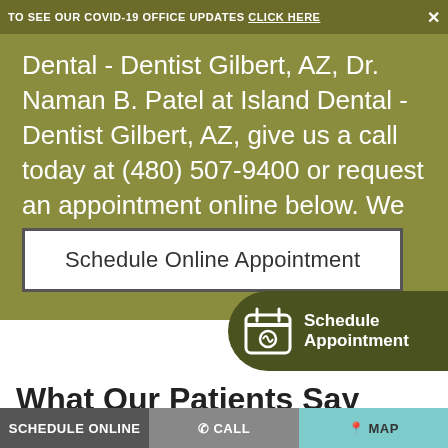TO SEE OUR COVID-19 OFFICE UPDATES CLICK HERE ✕
Dental - Dentist Gilbert, AZ, Dr. Naman B. Patel at Island Dental - Dentist Gilbert, AZ, give us a call today at (480) 507-9400 or request an appointment online below. We can't wait to see you smile!
[Figure (other): Schedule Online Appointment button]
[Figure (other): Schedule Appointment floating button with calendar/tooth icon]
What Our Patients Say About Us
| GOOGLE REVIEWS | AVERAGE RATING |
| --- | --- |
| 504 | ★★★★★ (4.9) |
SCHEDULE ONLINE   ☎ CALL   📍 Map